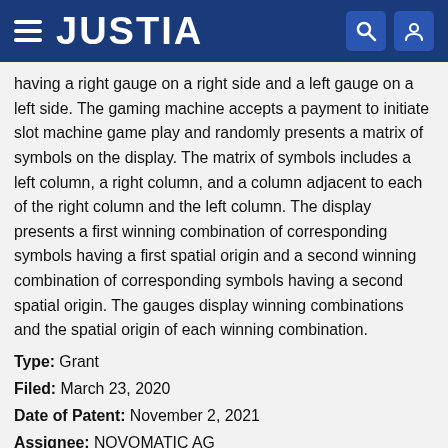JUSTIA
having a right gauge on a right side and a left gauge on a left side. The gaming machine accepts a payment to initiate slot machine game play and randomly presents a matrix of symbols on the display. The matrix of symbols includes a left column, a right column, and a column adjacent to each of the right column and the left column. The display presents a first winning combination of corresponding symbols having a first spatial origin and a second winning combination of corresponding symbols having a second spatial origin. The gauges display winning combinations and the spatial origin of each winning combination.
Type: Grant
Filed: March 23, 2020
Date of Patent: November 2, 2021
Assignee: NOVOMATIC AG
Inventor: Radu Efremescu